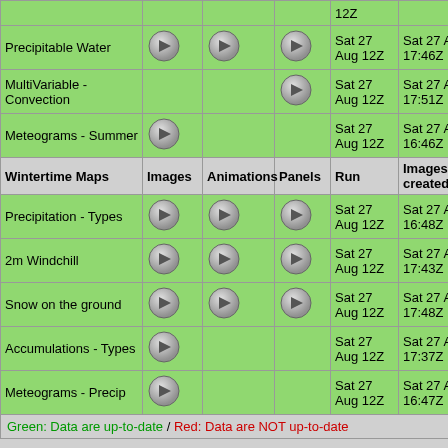|  | Images | Animations | Panels | Run | Images created on: |
| --- | --- | --- | --- | --- | --- |
| Precipitable Water | → | → | → | Sat 27 Aug 12Z | Sat 27 Aug at 17:46Z |
| MultiVariable - Convection |  |  | → | Sat 27 Aug 12Z | Sat 27 Aug at 17:51Z |
| Meteograms - Summer | → |  |  | Sat 27 Aug 12Z | Sat 27 Aug at 16:46Z |
| Wintertime Maps | Images | Animations | Panels | Run | Images created on: |
| Precipitation - Types | → | → | → | Sat 27 Aug 12Z | Sat 27 Aug at 16:48Z |
| 2m Windchill | → | → | → | Sat 27 Aug 12Z | Sat 27 Aug at 17:43Z |
| Snow on the ground | → | → | → | Sat 27 Aug 12Z | Sat 27 Aug at 17:48Z |
| Accumulations - Types | → |  |  | Sat 27 Aug 12Z | Sat 27 Aug at 17:37Z |
| Meteograms - Precip | → |  |  | Sat 27 Aug 12Z | Sat 27 Aug at 16:47Z |
Green: Data are up-to-date / Red: Data are NOT up-to-date